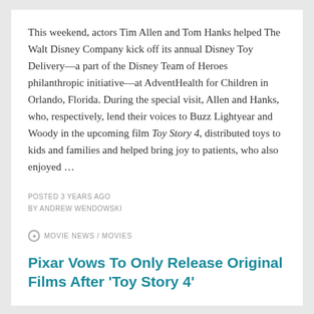This weekend, actors Tim Allen and Tom Hanks helped The Walt Disney Company kick off its annual Disney Toy Delivery—a part of the Disney Team of Heroes philanthropic initiative—at AdventHealth for Children in Orlando, Florida. During the special visit, Allen and Hanks, who, respectively, lend their voices to Buzz Lightyear and Woody in the upcoming film Toy Story 4, distributed toys to kids and families and helped bring joy to patients, who also enjoyed …
POSTED 3 YEARS AGO
BY ANDREW WENDOWSKI
MOVIE NEWS / MOVIES
Pixar Vows To Only Release Original Films After 'Toy Story 4'